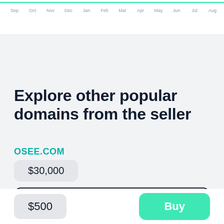[Figure (line-chart): Time series line chart showing domain traffic or price data from Sep to Aug, with a teal/green line near the top of the chart area. X-axis labels: Sep, Oct, Nov, Dec, Jan, Feb, Mar, Apr, May, Jun, Jul, Aug.]
Explore other popular domains from the seller
OSEE.COM
$30,000
Buy
$500
Buy